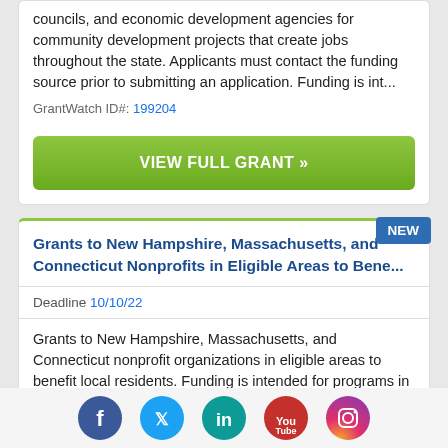councils, and economic development agencies for community development projects that create jobs throughout the state. Applicants must contact the funding source prior to submitting an application. Funding is int...
GrantWatch ID#: 199204
VIEW FULL GRANT »
Grants to New Hampshire, Massachusetts, and Connecticut Nonprofits in Eligible Areas to Bene...
Deadline 10/10/22
Grants to New Hampshire, Massachusetts, and Connecticut nonprofit organizations in eligible areas to benefit local residents. Funding is intended for programs in the focus areas of diversity, equity, and inclusion; economic, community, and workforce development;
[Figure (other): Social media icons row: Facebook, Twitter, LinkedIn, YouTube, Instagram]